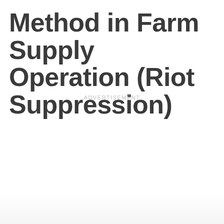Method in Farm Supply Operation (Riot Suppression)
ADVERTISEMENT